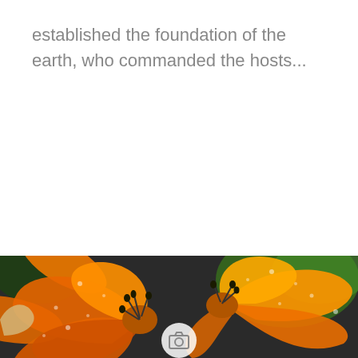established the foundation of the earth, who commanded the hosts...
READ MORE
[Figure (photo): Close-up macro photograph of two orange lilies with water droplets on petals, dark stamens, and green blurred background]